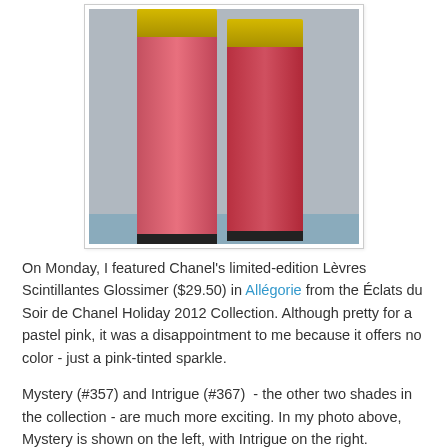[Figure (photo): Two Chanel Lèvres Scintillantes Glossimer lip gloss tubes side by side — Mystery on the left, Intrigue on the right — against a blue-grey background. Both have gold caps and pink-red bodies.]
On Monday, I featured Chanel's limited-edition Lèvres Scintillantes Glossimer ($29.50) in Allégorie from the Éclats du Soir de Chanel Holiday 2012 Collection. Although pretty for a pastel pink, it was a disappointment to me because it offers no color - just a pink-tinted sparkle.
Mystery (#357) and Intrigue (#367)  - the other two shades in the collection - are much more exciting. In my photo above, Mystery is shown on the left, with Intrigue on the right.
Mystery is described as a fresh rosewood, which I find a bit